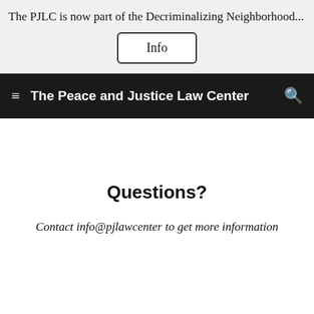The PJLC is now part of the Decriminalizing Neighborhood...
Info
The Peace and Justice Law Center
Questions?
Contact info@pjlawcenter to get more information